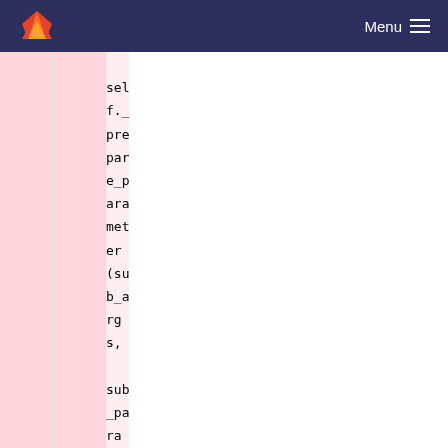GitLab — Menu
[Figure (screenshot): Code diff view showing Python source changes. Removed lines show self._prepare_parameter(sub_args, sub_param). Added lines (271+) show new_sub_parameter = self._prepare_parameter(sub_args, sub_param, "flag"). Normal lines 272-274 show new_param assignment and MultiParameterList construction. Context line shows @@ -279,7 +279,7 @@ class Workflow(threading.Thread):. Line 279 shows for sarg in sargs:.]